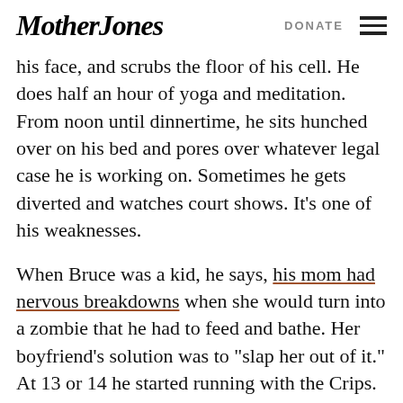Mother Jones | DONATE
his face, and scrubs the floor of his cell. He does half an hour of yoga and meditation. From noon until dinnertime, he sits hunched over on his bed and pores over whatever legal case he is working on. Sometimes he gets diverted and watches court shows. It’s one of his weaknesses.
When Bruce was a kid, he says, his mom had nervous breakdowns when she would turn into a zombie that he had to feed and bathe. Her boyfriend’s solution was to “slap her out of it.” At 13 or 14 he started running with the Crips. Since then, he has spent a total of about one year on the outside. At 23, he was convicted of three counts of first-degree murder, two counts of attempted